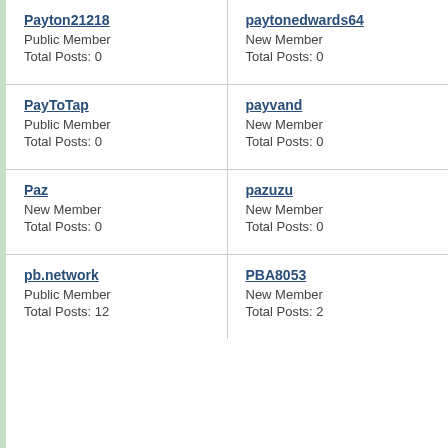Payton21218
Public Member
Total Posts: 0
paytonedwards64
New Member
Total Posts: 0
PayToTap
Public Member
Total Posts: 0
payvand
New Member
Total Posts: 0
Paz
New Member
Total Posts: 0
pazuzu
New Member
Total Posts: 0
pb.network
Public Member
Total Posts: 12
PBA8053
New Member
Total Posts: 2